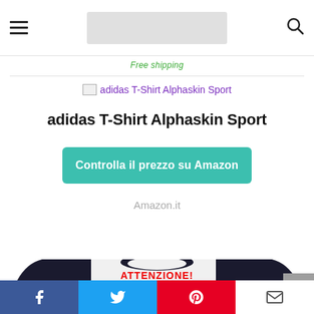Free shipping
[Figure (photo): Broken image placeholder for adidas T-Shirt Alphaskin Sport product image with alt text label]
adidas T-Shirt Alphaskin Sport
Controlla il prezzo su Amazon
Amazon.it
[Figure (photo): Photo of a baseball-style long sleeve t-shirt, white body with black sleeves, text: ATTENZIONE! FACCIO COSE]
Social share buttons: Facebook, Twitter, Pinterest, Email